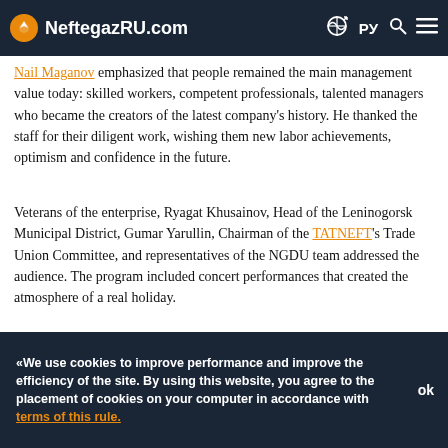NeftegazRU.com
Nail Maganov emphasized that people remained the main management value today: skilled workers, competent professionals, talented managers who became the creators of the latest company's history. He thanked the staff for their diligent work, wishing them new labor achievements, optimism and confidence in the future.
Veterans of the enterprise, Ryagat Khusainov, Head of the Leninogorsk Municipal District, Gumar Yarullin, Chairman of the TATNEFT's Trade Union Committee, and representatives of the NGDU team addressed the audience. The program included concert performances that created the atmosphere of a real holiday.
After the end of the online communication, Nail Maganov, accompanied by the management of NGDU, visited the main exposition venue of the open-air museum park: a smelter, a blacksmith's shop and a locksmith's workshop.
«We use cookies to improve performance and improve the efficiency of the site. By using this website, you agree to the placement of cookies on your computer in accordance with terms of this rule.